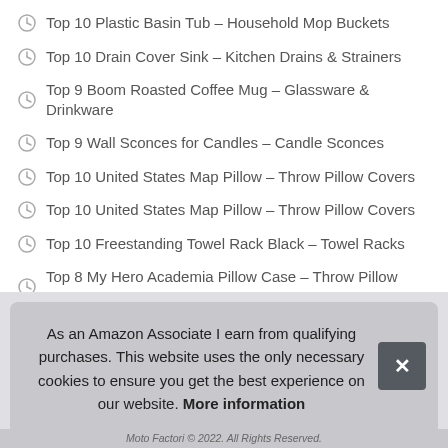Top 10 Plastic Basin Tub – Household Mop Buckets
Top 10 Drain Cover Sink – Kitchen Drains & Strainers
Top 9 Boom Roasted Coffee Mug – Glassware & Drinkware
Top 9 Wall Sconces for Candles – Candle Sconces
Top 10 United States Map Pillow – Throw Pillow Covers
Top 10 United States Map Pillow – Throw Pillow Covers
Top 10 Freestanding Towel Rack Black – Towel Racks
Top 8 My Hero Academia Pillow Case – Throw Pillow Covers
As an Amazon Associate I earn from qualifying purchases. This website uses the only necessary cookies to ensure you get the best experience on our website. More information
Moto Factori © 2022. All Rights Reserved.